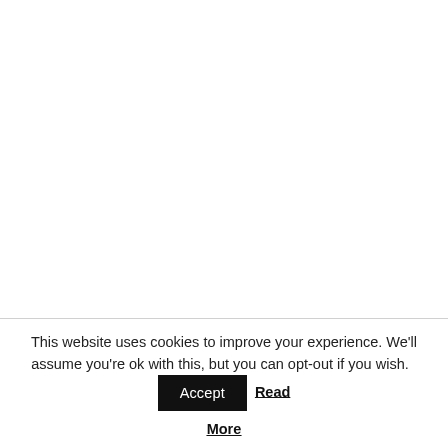This website uses cookies to improve your experience. We'll assume you're ok with this, but you can opt-out if you wish. Accept Read More